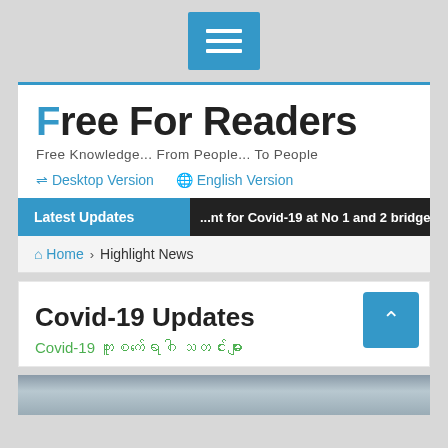[Figure (screenshot): Hamburger menu button (three horizontal lines) in blue square]
Free For Readers
Free Knowledge... From People... To People
⇌ Desktop Version   🔤 English Version
Latest Updates  ...at for Covid-19 at No 1 and 2 bridge at Tar Chi Late Township
🏠 Home › Highlight News
Covid-19 Updates
Covid-19 ကူးစက်ရောဂါ သတင်းများ
[Figure (photo): Partial photo visible at bottom of page]